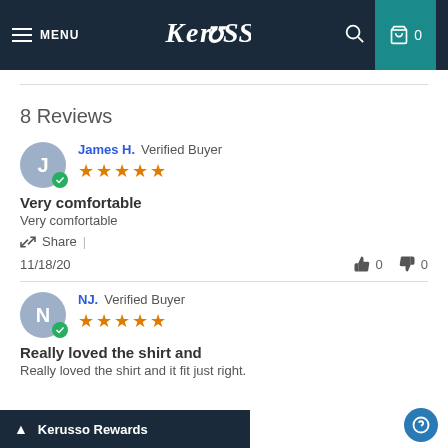MENU | Kerusso | 🛒 0
8 Reviews
James H. Verified Buyer — 5 stars — Very comfortable — Very comfortable — Share | 11/18/20 — 👍 0 👎 0
NJ. Verified Buyer — 5 stars — Really loved the shirt and — Really loved the shirt and it fit just right.
▲ Kerusso Rewards